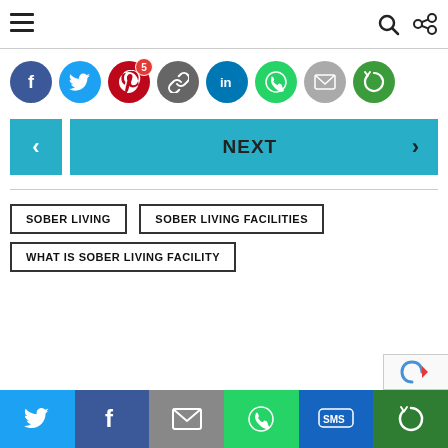Navigation bar with hamburger menu, search icon, and share icon
[Figure (infographic): Social share buttons row: Facebook (blue), Twitter (cyan), Pinterest (red, badge:5), Link (gray), LinkedIn (blue), WhatsApp (green), Email (gray), Revolut (green)]
[Figure (infographic): Navigation buttons: Previous (left arrow, teal) and Next (teal button with right arrow)]
SOBER LIVING
SOBER LIVING FACILITIES
WHAT IS SOBER LIVING FACILITY
[Figure (infographic): Bottom share bar: Twitter, Facebook, Email, WhatsApp, SMS, Revolut icon buttons]